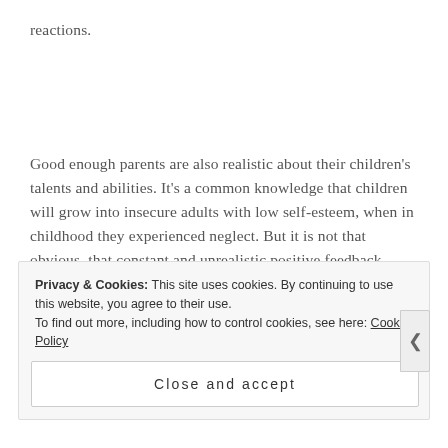reactions.
Good enough parents are also realistic about their children's talents and abilities. It's a common knowledge that children will grow into insecure adults with low self-esteem, when in childhood they experienced neglect. But it is not that obvious, that constant and unrealistic positive feedback might
Privacy & Cookies: This site uses cookies. By continuing to use this website, you agree to their use. To find out more, including how to control cookies, see here: Cookie Policy
Close and accept